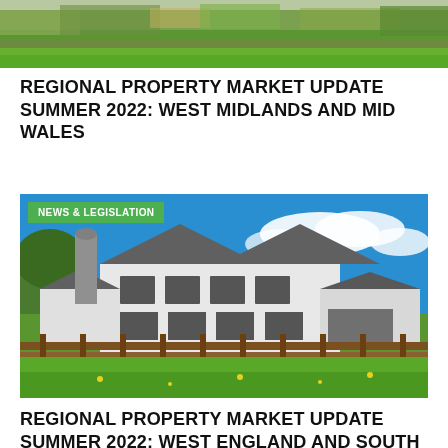[Figure (photo): Top portion of a garden/landscape photo with green grass and foliage, partially cropped at top of page]
REGIONAL PROPERTY MARKET UPDATE SUMMER 2022: WEST MIDLANDS AND MID WALES
[Figure (photo): Photo of a large white two-storey house with dark roof, wood fence in foreground, green grass field, and blue sky with clouds. Green 'NEWS & LEGISLATION' badge overlaid on top-left.]
REGIONAL PROPERTY MARKET UPDATE SUMMER 2022: WEST ENGLAND AND SOUTH